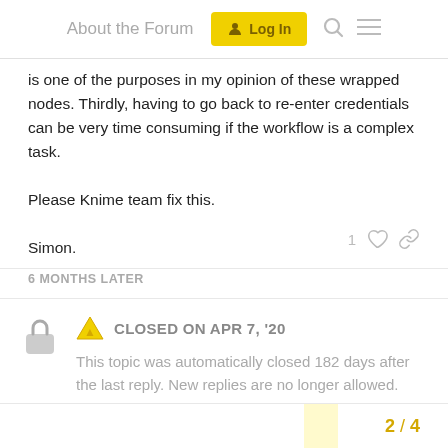About the Forum | Log In
is one of the purposes in my opinion of these wrapped nodes. Thirdly, having to go back to re-enter credentials can be very time consuming if the workflow is a complex task.

Please Knime team fix this.

Simon.
6 MONTHS LATER
CLOSED ON APR 7, '20
This topic was automatically closed 182 days after the last reply. New replies are no longer allowed.
2 / 4